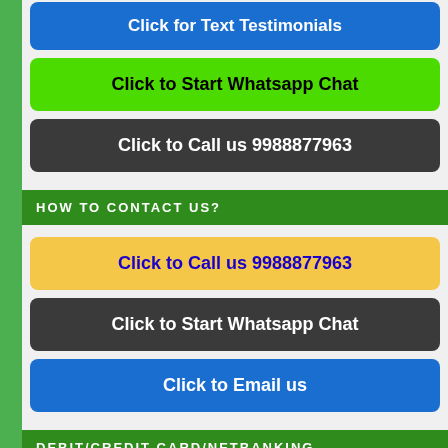[Figure (other): Blue button: Click for Text Testimonials]
[Figure (other): Green button: Click to Start Whatsapp Chat]
[Figure (other): Dark button: Click to Call us 9988877963]
HOW TO CONTACT US?
[Figure (other): Yellow button: Click to Call us 9988877963]
[Figure (other): Dark button: Click to Start Whatsapp Chat]
[Figure (other): Blue button: Click to Email us]
DEBIT/CREDIT CARD/NETBANKING
[Figure (other): Red button: Click for Online Payment]